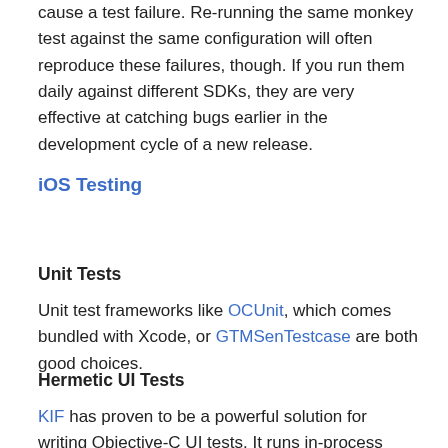cause a test failure. Re-running the same monkey test against the same configuration will often reproduce these failures, though. If you run them daily against different SDKs, they are very effective at catching bugs earlier in the development cycle of a new release.
iOS Testing
Unit Tests
Unit test frameworks like OCUnit, which comes bundled with Xcode, or GTMSenTestcase are both good choices.
Hermetic UI Tests
KIF has proven to be a powerful solution for writing Objective-C UI tests. It runs in-process which allows tests to be more tightly coupled with the app under test, making the